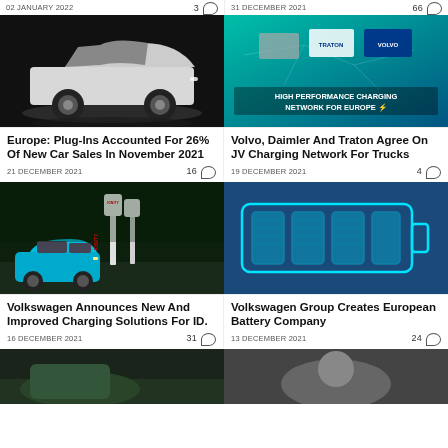02 JANUARY 2022   3  |  31 DECEMBER 2021   66
[Figure (photo): White Tesla Model 3 on dark background]
Europe: Plug-Ins Accounted For 26% Of New Car Sales In November 2021
21 DECEMBER 2021   16
[Figure (photo): Volvo, Daimler and Traton high performance charging network for Europe promotional image - teal background with logos and map]
Volvo, Daimler And Traton Agree On JV Charging Network For Trucks
19 DECEMBER 2021   4
[Figure (photo): Blue Volkswagen ID.3 at IONITY charging station at night]
Volkswagen Announces New And Improved Charging Solutions For ID.
16 DECEMBER 2021   31
[Figure (illustration): Battery icon illustration on dark blue background - Volkswagen Group European Battery Company]
Volkswagen Group Creates European Battery Company
13 DECEMBER 2021   24
[Figure (photo): Partial bottom-left article image (cut off)]
[Figure (photo): Partial bottom-right article image (cut off)]